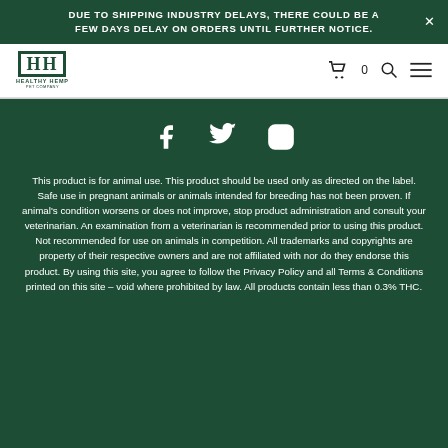DUE TO SHIPPING INDUSTRY DELAYS, THERE COULD BE A FEW DAYS DELAY ON ORDERS UNTIL FURTHER NOTICE.
[Figure (logo): Healthy Hemp Pet Company logo with HH monogram in a box]
[Figure (other): Social media icons: Facebook, Twitter, Instagram]
This product is for animal use. This product should be used only as directed on the label. Safe use in pregnant animals or animals intended for breeding has not been proven. If animal's condition worsens or does not improve, stop product administration and consult your veterinarian. An examination from a veterinarian is recommended prior to using this product. Not recommended for use on animals in competition. All trademarks and copyrights are property of their respective owners and are not affiliated with nor do they endorse this product. By using this site, you agree to follow the Privacy Policy and all Terms & Conditions printed on this site – void where prohibited by law. All products contain less than 0.3% THC.